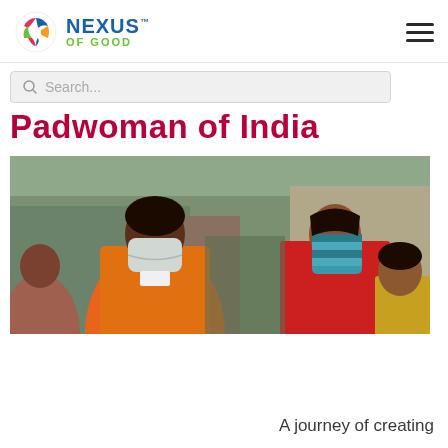Nexus of Good
Padwoman of India
[Figure (photo): Two Indian women wearing face masks standing outdoors in what appears to be a slum or village setting. One woman in an orange/red saree with a N95 type mask, another in red with a teal cloth covering her face, and a child in a yellow shirt beside her.]
A journey of creating